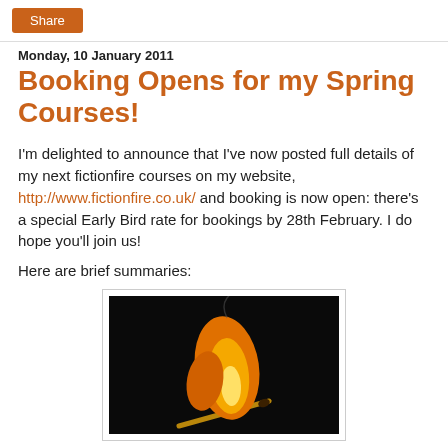Share
Monday, 10 January 2011
Booking Opens for my Spring Courses!
I'm delighted to announce that I've now posted full details of my next fictionfire courses on my website, http://www.fictionfire.co.uk/ and booking is now open: there's a special Early Bird rate for bookings by 28th February. I do hope you'll join us!
Here are brief summaries:
[Figure (photo): A lit match with orange and yellow flame against a dark black background]
7th May: Essential Story Construction